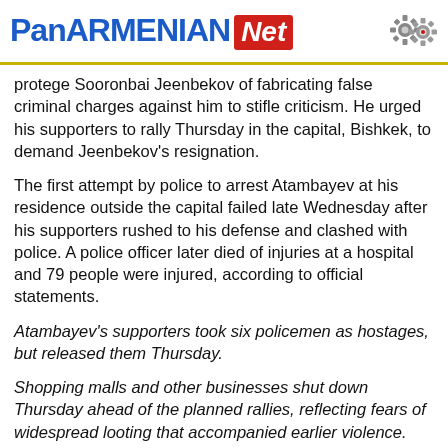PanARMENIAN.Net
protege Sooronbai Jeenbekov of fabricating false criminal charges against him to stifle criticism. He urged his supporters to rally Thursday in the capital, Bishkek, to demand Jeenbekov's resignation.
The first attempt by police to arrest Atambayev at his residence outside the capital failed late Wednesday after his supporters rushed to his defense and clashed with police. A police officer later died of injuries at a hospital and 79 people were injured, according to official statements.
Atambayev's supporters took six policemen as hostages, but released them Thursday.
Shopping malls and other businesses shut down Thursday ahead of the planned rallies, reflecting fears of widespread looting that accompanied earlier violence.